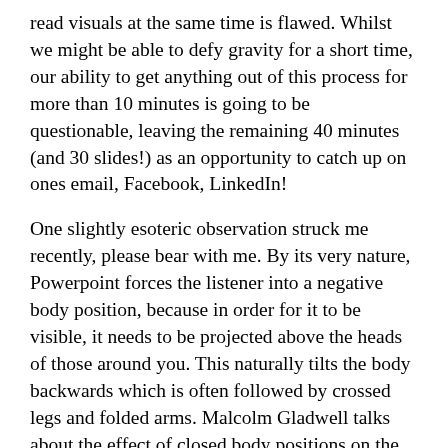read visuals at the same time is flawed. Whilst we might be able to defy gravity for a short time, our ability to get anything out of this process for more than 10 minutes is going to be questionable, leaving the remaining 40 minutes (and 30 slides!) as an opportunity to catch up on ones email, Facebook, LinkedIn!
One slightly esoteric observation struck me recently, please bear with me. By its very nature, Powerpoint forces the listener into a negative body position, because in order for it to be visible, it needs to be projected above the heads of those around you. This naturally tilts the body backwards which is often followed by crossed legs and folded arms. Malcolm Gladwell talks about the effect of closed body positions on the absorption of data from various experiments with students, where he notes that those in closed body positions take in about 33% of those in